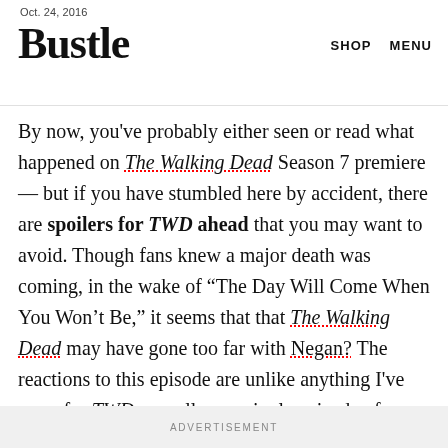Oct. 24, 2016
Bustle
SHOP   MENU
By now, you've probably either seen or read what happened on The Walking Dead Season 7 premiere — but if you have stumbled here by accident, there are spoilers for TWD ahead that you may want to avoid. Though fans knew a major death was coming, in the wake of “The Day Will Come When You Won’t Be,” it seems that that The Walking Dead may have gone too far with Negan? The reactions to this episode are unlike anything I've seen, for TWD or really any single episode of television, before.
ADVERTISEMENT